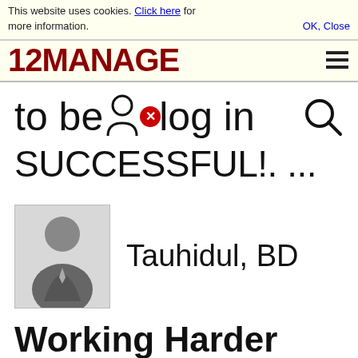This website uses cookies. Click here for more information. OK, Close
[Figure (logo): 12MANAGE logo in dark red bold text with hamburger menu icon]
to be or log in
SUCCESSFUL!. ...
[Figure (photo): Silhouette avatar of a person in a suit]
Tauhidul, BD
Working Harder